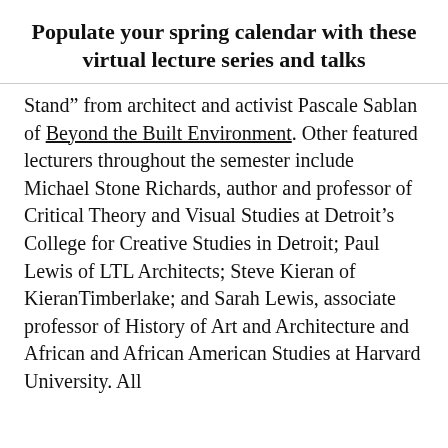Populate your spring calendar with these virtual lecture series and talks
Stand” from architect and activist Pascale Sablan of Beyond the Built Environment. Other featured lecturers throughout the semester include Michael Stone Richards, author and professor of Critical Theory and Visual Studies at Detroit’s College for Creative Studies in Detroit; Paul Lewis of LTL Architects; Steve Kieran of KieranTimberlake; and Sarah Lewis, associate professor of History of Art and Architecture and African and African American Studies at Harvard University. All